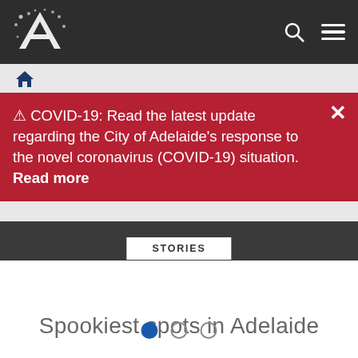[Figure (logo): City of Adelaide logo - white letter A with dots on dark background]
COVID-19: Read the latest update regarding the City of Adelaide's response to the novel coronavirus (COVID-19) situation. Read more
STORIES
Spookiest spots in Adelaide